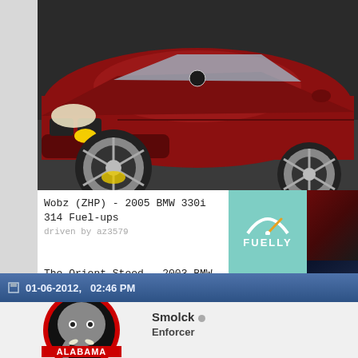[Figure (photo): Dark red BMW 3-series (330i) photographed from the front/side angle, parked in a lot. The car has aftermarket alloy wheels. Yellow fog lights visible.]
Wobz (ZHP) - 2005 BMW 330i
314 Fuel-ups
driven by az3579
[Figure (logo): Fuelly teal badge with speedometer gauge icon and text FUELLY]
[Figure (photo): Thumbnail of a dark red BMW 330i rear view]
The Orient Steed - 2003 BMW 330i
170 Fuel-ups
driven by az3579
[Figure (logo): Fuelly teal badge with speedometer gauge icon and text FUELLY]
[Figure (photo): Thumbnail of a dark blue BMW 330i]
It's not the car you drive, it's how you drive it.
01-06-2012, 02:46 PM
[Figure (logo): Alabama Crimson Tide elephant mascot logo]
Smolck
Enforcer